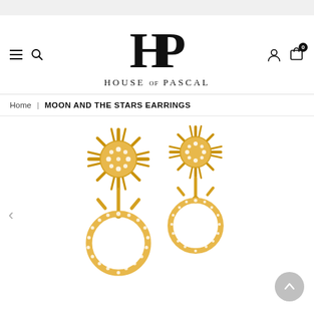[Figure (logo): House of Pascal brand logo — stylized HP monogram above text HOUSE OF PASCAL]
Home | MOON AND THE STARS EARRINGS
[Figure (photo): Product photo of Moon and the Stars gold earrings — two gold starburst tops with crystal pave, hanging from a crescent/circle hoop with crystal pave, shown on white background]